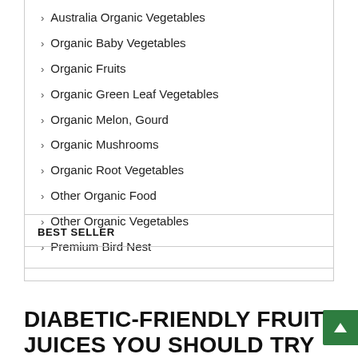Australia Organic Vegetables
Organic Baby Vegetables
Organic Fruits
Organic Green Leaf Vegetables
Organic Melon, Gourd
Organic Mushrooms
Organic Root Vegetables
Other Organic Food
Other Organic Vegetables
Premium Bird Nest
BEST SELLER
DIABETIC-FRIENDLY FRUIT JUICES YOU SHOULD TRY